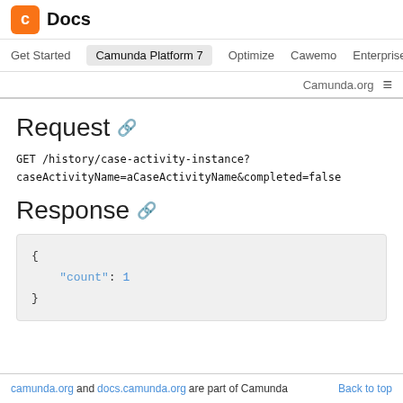C Docs | Get Started  Camunda Platform 7  Optimize  Cawemo  Enterprise | Camunda.org
Request
GET /history/case-activity-instance?
caseActivityName=aCaseActivityName&completed=false
Response
{
  "count": 1
}
camunda.org and docs.camunda.org are part of Camunda  Back to top